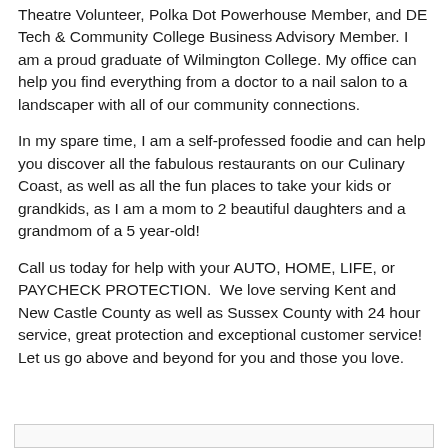Theatre Volunteer, Polka Dot Powerhouse Member, and DE Tech & Community College Business Advisory Member. I am a proud graduate of Wilmington College. My office can help you find everything from a doctor to a nail salon to a landscaper with all of our community connections.
In my spare time, I am a self-professed foodie and can help you discover all the fabulous restaurants on our Culinary Coast, as well as all the fun places to take your kids or grandkids, as I am a mom to 2 beautiful daughters and a grandmom of a 5 year-old!
Call us today for help with your AUTO, HOME, LIFE, or PAYCHECK PROTECTION.  We love serving Kent and New Castle County as well as Sussex County with 24 hour service, great protection and exceptional customer service! Let us go above and beyond for you and those you love.